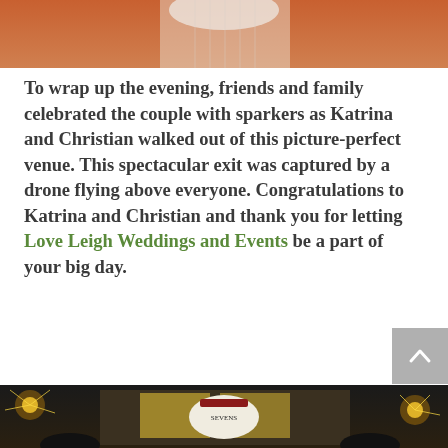[Figure (photo): Top portion of a wedding photo showing what appears to be a white wedding dress or veil against an orange/warm background]
To wrap up the evening, friends and family celebrated the couple with sparkers as Katrina and Christian walked out of this picture-perfect venue. This spectacular exit was captured by a drone flying above everyone. Congratulations to Katrina and Christian and thank you for letting Love Leigh Weddings and Events be a part of your big day.
[Figure (photo): Wedding sparkler exit photo at night at a venue called Sevens, with guests holding sparklers and phones]